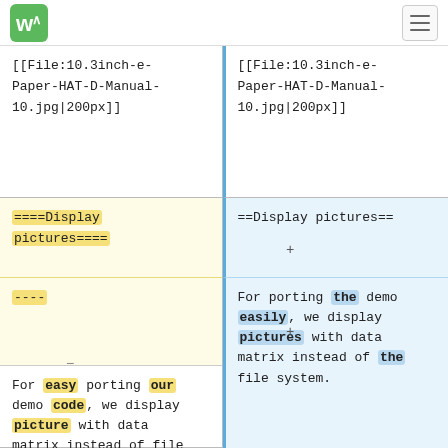WA logo and hamburger menu
[[File:10.3inch-e-Paper-HAT-D-Manual-10.jpg|200px]]
[[File:10.3inch-e-Paper-HAT-D-Manual-10.jpg|200px]]
====Display pictures====
==Display pictures==
----
For easy porting our demo code, we display picture with data matrix instead of file system.
For porting the demo easily, we display pictures with data matrix instead of the file system.